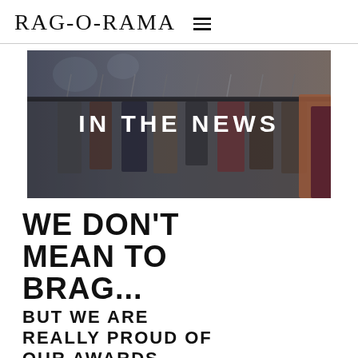RAG-O-RAMA
[Figure (photo): A rack of clothes on hangers in a clothing store, blurred bokeh background, with text overlay reading 'IN THE NEWS']
WE DON'T MEAN TO BRAG...
BUT WE ARE REALLY PROUD OF OUR AWARDS.